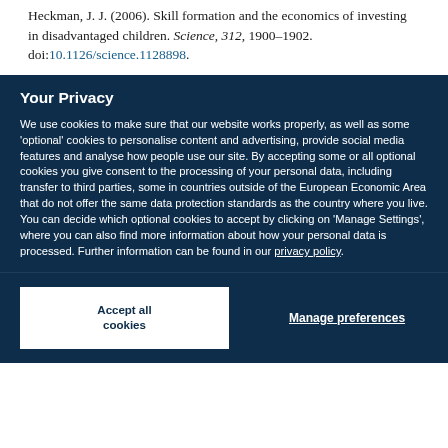Heckman, J. J. (2006). Skill formation and the economics of investing in disadvantaged children. Science, 312, 1900–1902. doi:10.1126/science.1128898.
Your Privacy
We use cookies to make sure that our website works properly, as well as some 'optional' cookies to personalise content and advertising, provide social media features and analyse how people use our site. By accepting some or all optional cookies you give consent to the processing of your personal data, including transfer to third parties, some in countries outside of the European Economic Area that do not offer the same data protection standards as the country where you live. You can decide which optional cookies to accept by clicking on 'Manage Settings', where you can also find more information about how your personal data is processed. Further information can be found in our privacy policy.
Accept all cookies
Manage preferences